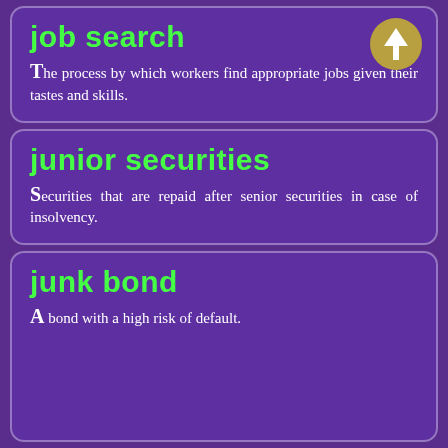job search
The process by which workers find appropriate jobs given their tastes and skills.
junior securities
Securities that are repaid after senior securities in case of insolvency.
junk bond
A bond with a high risk of default.